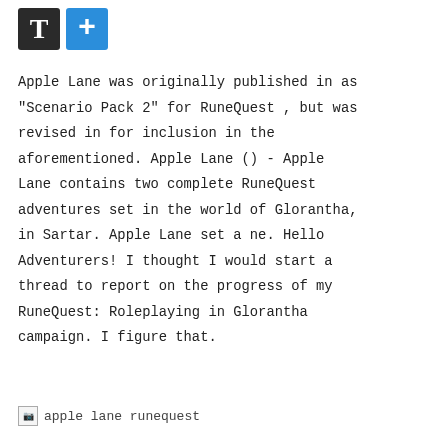[Figure (other): Two icon buttons: a dark/black button with a white letter T, and a blue button with a white plus sign]
Apple Lane was originally published in as "Scenario Pack 2" for RuneQuest , but was revised in for inclusion in the aforementioned. Apple Lane () - Apple Lane contains two complete RuneQuest adventures set in the world of Glorantha, in Sartar. Apple Lane set a ne. Hello Adventurers! I thought I would start a thread to report on the progress of my RuneQuest: Roleplaying in Glorantha campaign. I figure that.
[Figure (other): Broken image placeholder with alt text: apple lane runequest]